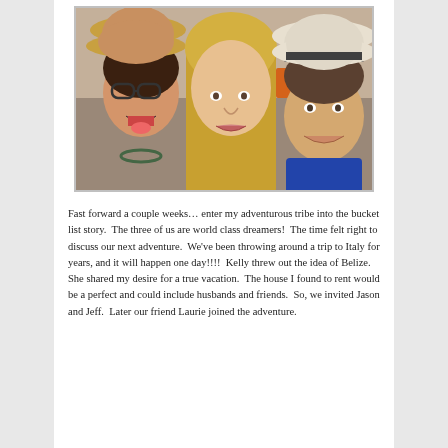[Figure (photo): Selfie photo of three people smiling. On the left is a woman with glasses and a straw hat, in the middle is a woman with long blonde hair, and on the right is a person wearing a white hat. They appear to be outdoors at some kind of attraction or market.]
Fast forward a couple weeks… enter my adventurous tribe into the bucket list story.  The three of us are world class dreamers!  The time felt right to discuss our next adventure.  We've been throwing around a trip to Italy for years, and it will happen one day!!!!  Kelly threw out the idea of Belize.  She shared my desire for a true vacation.  The house I found to rent would be a perfect and could include husbands and friends.  So, we invited Jason and Jeff.  Later our friend Laurie joined the adventure.